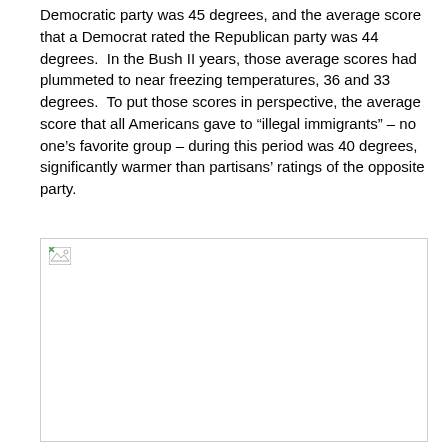Democratic party was 45 degrees, and the average score that a Democrat rated the Republican party was 44 degrees.  In the Bush II years, those average scores had plummeted to near freezing temperatures, 36 and 33 degrees.  To put those scores in perspective, the average score that all Americans gave to “illegal immigrants” – no one’s favorite group – during this period was 40 degrees, significantly warmer than partisans’ ratings of the opposite party.
[Figure (other): Broken image placeholder (image failed to load)]